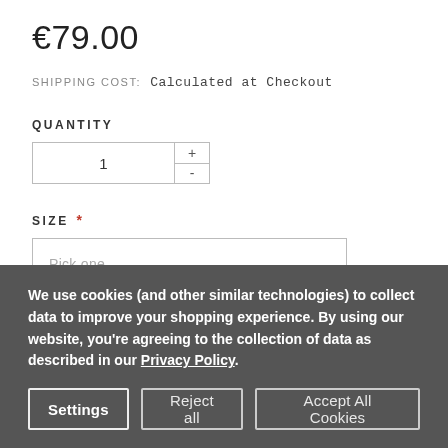€79.00
SHIPPING COST: Calculated at Checkout
QUANTITY
1
SIZE *
Pick one
We use cookies (and other similar technologies) to collect data to improve your shopping experience. By using our website, you're agreeing to the collection of data as described in our Privacy Policy.
Settings
Reject all
Accept All Cookies